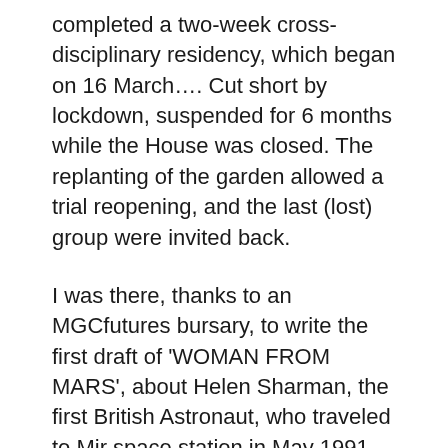completed a two-week cross-disciplinary residency, which began on 16 March…. Cut short by lockdown, suspended for 6 months while the House was closed. The replanting of the garden allowed a trial reopening, and the last (lost) group were invited back.
I was there, thanks to an MGCfutures bursary, to write the first draft of 'WOMAN FROM MARS', about Helen Sharman, the first British Astronaut, who traveled to Mir space station in May 1991 on the final mission of the Soviet cosmonaut programme.
The play I'm now finishing has changed in several ways – including the title. Returning to Hospitalfield brought into focus what an intense, strange experience, that first residency delivered; the five of us, mostly alone in the house, washing and sanitising hands, doorknobs, kettles